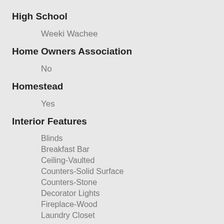High School
Weeki Wachee
Home Owners Association
No
Homestead
Yes
Interior Features
Blinds
Breakfast Bar
Ceiling-Vaulted
Counters-Solid Surface
Counters-Stone
Decorator Lights
Fireplace-Wood
Laundry Closet